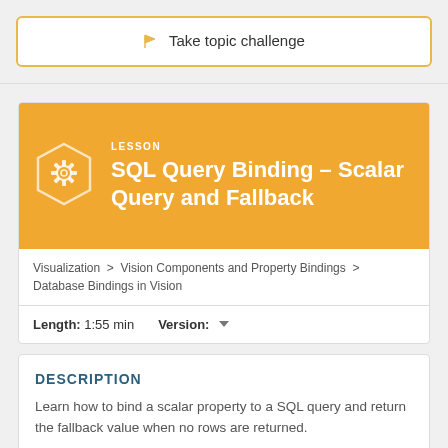Take topic challenge
[Figure (illustration): Lesson card with gear icon on orange background showing SQL Query Binding lesson]
LESSON
SQL Query Binding – Scalar Query and Fallback
Visualization > Vision Components and Property Bindings > Database Bindings in Vision
Length: 1:55 min   Version:
DESCRIPTION
Learn how to bind a scalar property to a SQL query and return the fallback value when no rows are returned.